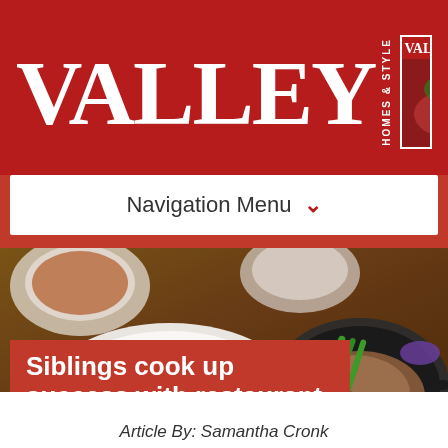[Figure (logo): VALLEY Homes & Style magazine logo on red background with magazine thumbnail]
Navigation Menu ▾
[Figure (photo): Restaurant food photo showing fish with asparagus and other dishes on a wooden table]
Siblings cook up success with restaurant empire
Article By: Samantha Cronk